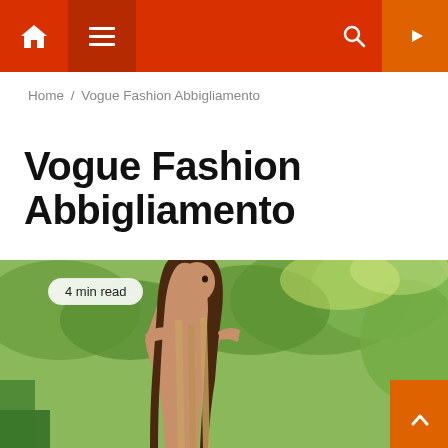Navigation bar with home icon, menu icon, search icon, YouTube icon
Home / Vogue Fashion Abbigliamento
Vogue Fashion Abbigliamento
[Figure (photo): Young woman with long brown hair wearing a yellow halter-back dress, looking over her shoulder against a green blurred background. Badge reads '4 min read'.]